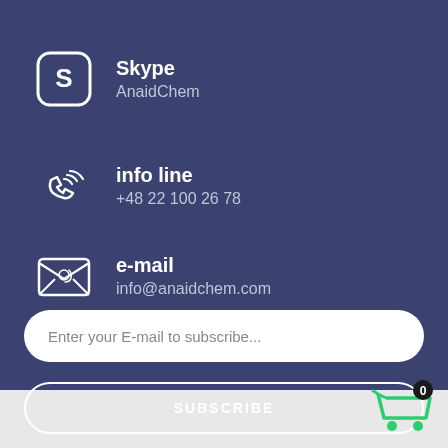Skype
AnaidChem
info line
+48 22 100 26 78
e-mail
info@anaidchem.com
Enter your E-mail to subscribe...
SUBSCRIBE
[Figure (illustration): Green shopping cart icon with badge showing '0']